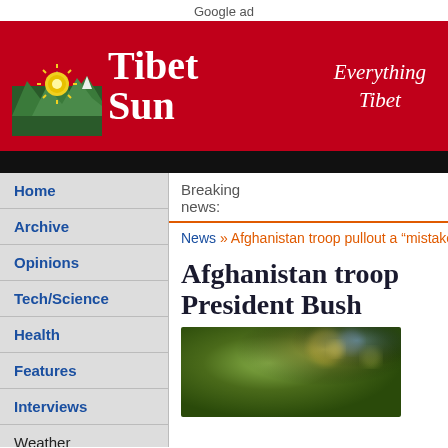Google ad
[Figure (logo): Tibet Sun logo with sun icon, red background, text 'Tibet Sun Everything Tibet']
Breaking news:
News » Afghanistan troop pullout a "mistake":...
Afghanistan troop... President Bush
Home
Archive
Opinions
Tech/Science
Health
Features
Interviews
Weather
Week in Photos
Have Your Say
Election 2021
[Figure (photo): Blurred outdoor photo with green foliage and bokeh effect]